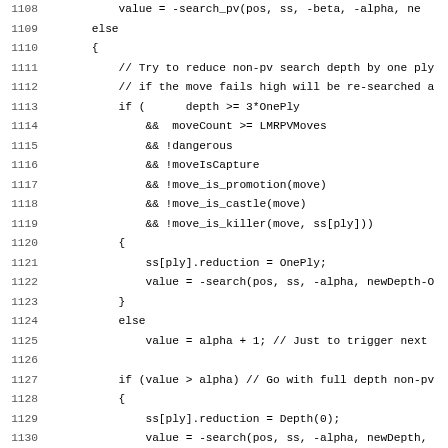Source code listing lines 1108-1139, showing chess engine search function with LMR (Late Move Reduction) logic in C++